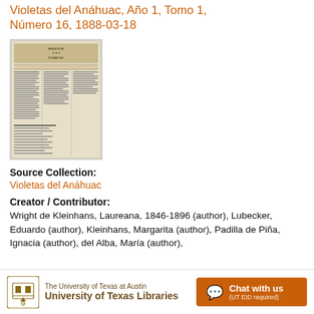Violetas del Anáhuac, Año 1, Tomo 1, Número 16, 1888-03-18
[Figure (photo): Thumbnail image of a historical newspaper page titled 'Violetas del Anáhuac', showing printed text columns on aged paper.]
Source Collection:
Violetas del Anáhuac
Creator / Contributor:
Wright de Kleinhans, Laureana, 1846-1896 (author), Lubecker, Eduardo (author), Kleinhans, Margarita (author), Padilla de Piña, Ignacia (author), del Alba, María (author),
The University of Texas at Austin University of Texas Libraries  Chat with us (UT EID required)